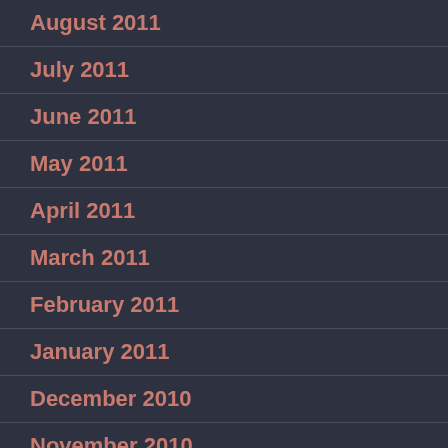August 2011
July 2011
June 2011
May 2011
April 2011
March 2011
February 2011
January 2011
December 2010
November 2010
October 2010
September 2010